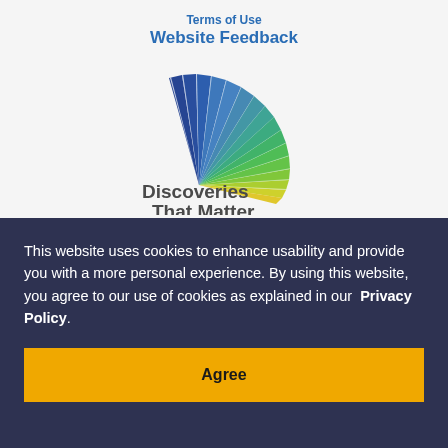Website Feedback
[Figure (logo): Discoveries That Matter logo with colorful fan-shaped rays in blue, green, and yellow/gold, with dark gray text reading 'Discoveries That Matter']
This website uses cookies to enhance usability and provide you with a more personal experience. By using this website, you agree to our use of cookies as explained in our Privacy Policy.
Agree